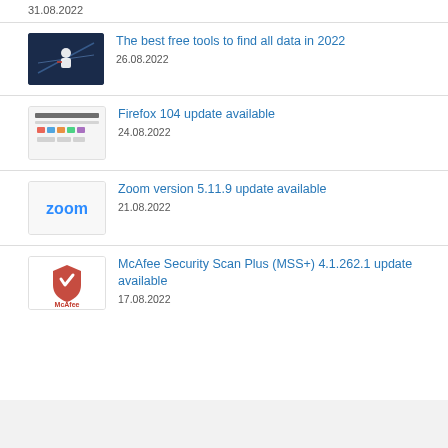31.08.2022
The best free tools to find all data in 2022 — 26.08.2022
Firefox 104 update available — 24.08.2022
Zoom version 5.11.9 update available — 21.08.2022
McAfee Security Scan Plus (MSS+) 4.1.262.1 update available — 17.08.2022